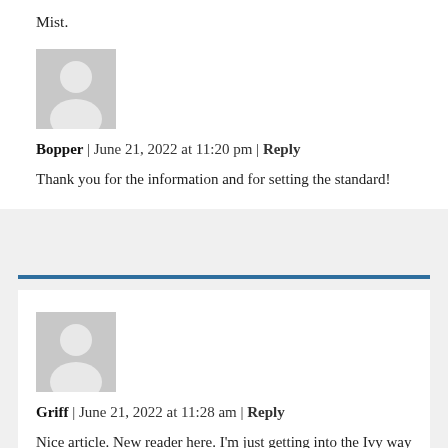Mist.
[Figure (illustration): Default avatar placeholder – grey square with white silhouette of a person]
Bopper | June 21, 2022 at 11:20 pm | Reply
Thank you for the information and for setting the standard!
[Figure (illustration): Default avatar placeholder – grey square with white silhouette of a person]
Griff | June 21, 2022 at 11:28 am | Reply
Nice article. New reader here. I'm just getting into the Ivy way of dressing. Like